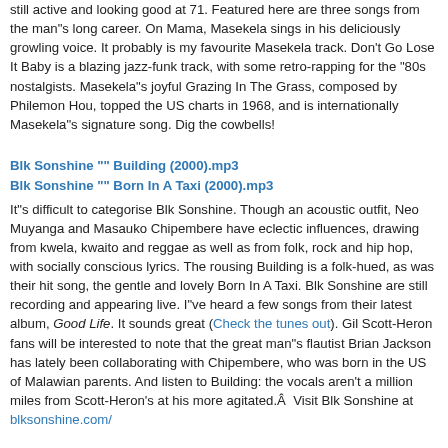still active and looking good at 71. Featured here are three songs from the man"s long career. On Mama, Masekela sings in his deliciously growling voice. It probably is my favourite Masekela track. Don't Go Lose It Baby is a blazing jazz-funk track, with some retro-rapping for the "80s nostalgists. Masekela"s joyful Grazing In The Grass, composed by Philemon Hou, topped the US charts in 1968, and is internationally Masekela"s signature song. Dig the cowbells!
Blk Sonshine "" Building (2000).mp3
Blk Sonshine "" Born In A Taxi (2000).mp3
It"s difficult to categorise Blk Sonshine. Though an acoustic outfit, Neo Muyanga and Masauko Chipembere have eclectic influences, drawing from kwela, kwaito and reggae as well as from folk, rock and hip hop, with socially conscious lyrics. The rousing Building is a folk-hued, as was their hit song, the gentle and lovely Born In A Taxi. Blk Sonshine are still recording and appearing live. I"ve heard a few songs from their latest album, Good Life. It sounds great (Check the tunes out). Gil Scott-Heron fans will be interested to note that the great man"s flautist Brian Jackson has lately been collaborating with Chipembere, who was born in the US of Malawian parents. And listen to Building: the vocals aren't a million miles from Scott-Heron's at his more agitated.Â  Visit Blk Sonshine at blksonshine.com/
Blk Sonshine must not be confused with the highly-rated township heavy metal b check out the excellent Liberator Magazine blog.